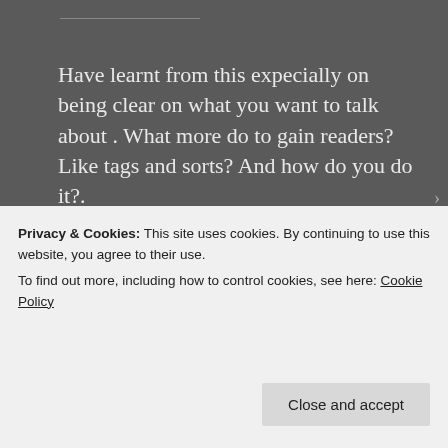Have learnt from this expecially on being clear on what you want to talk about . What more do to gain readers? Like tags and sorts? And how do you do it?.
★ Liked by 3 people
[Figure (logo): Red circular avatar with white 'GB' letter mark inside]
A.S.
Privacy & Cookies: This site uses cookies. By continuing to use this website, you agree to their use.
To find out more, including how to control cookies, see here: Cookie Policy
Close and accept